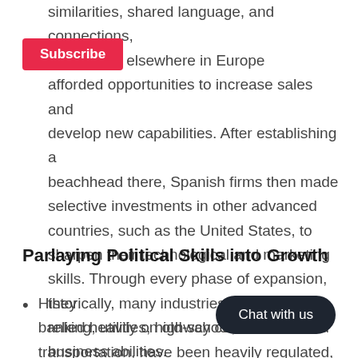similarities, shared language, and connections, by markets elsewhere in Europe afforded opportunities to increase sales and develop new capabilities. After establishing a beachhead there, Spanish firms then made selective investments in other advanced countries, such as the United States, to sharpen their technological and marketing skills. Through every phase of expansion, they relied heavily on old-school, time-honored business abilities.
Parlaying Political Skills into Growth
Historically, many industries banking, utilities, highway cons transportation, have been heavily regulated,